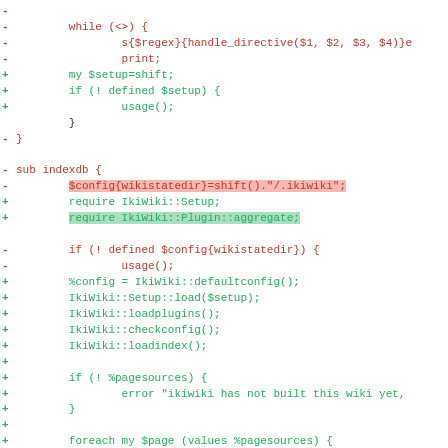Code diff showing changes to indexdb subroutine and related code, with removed lines in red and added lines in green.